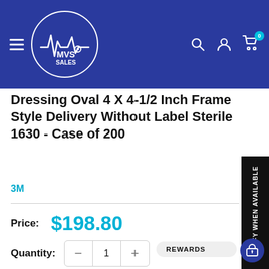MVS SALES
Dressing Oval 4 X 4-1/2 Inch Frame Style Delivery Without Label Sterile 1630 - Case of 200
3M
Price: $198.80
Quantity: 1
NOTIFY WHEN AVAILABLE
REWARDS